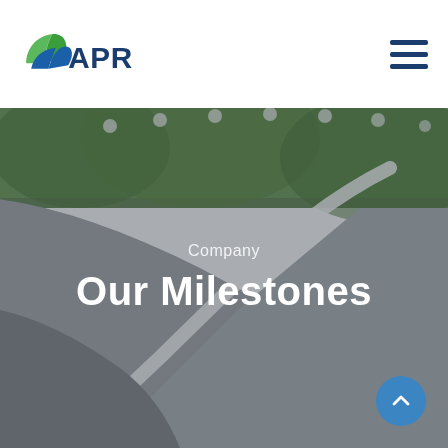[Figure (logo): APR company logo with green leaf and blue text]
[Figure (illustration): Hamburger/menu icon with three horizontal lines in dark blue]
[Figure (photo): Background photo of a curved road with white lane markings and green trees, blurred/bokeh effect. Overlaid with semi-transparent dark overlay.]
Company
Our Milestones
[Figure (illustration): Circular blue scroll-to-top button with white upward chevron arrow]